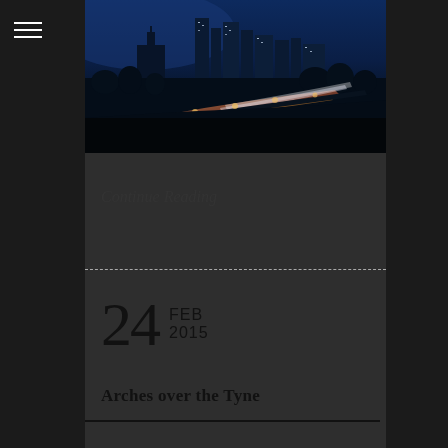[Figure (photo): City skyline at night/dusk with illuminated skyscrapers, highway with light trails, blue sky background]
Continue Reading
24 FEB 2015
Arches over the Tyne